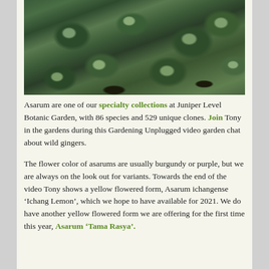[Figure (photo): Close-up photograph of Asarum (wild ginger) plants with dark green heart-shaped leaves showing silvery vein patterns, growing over dark soil and mulch.]
Asarum are one of our specialty collections at Juniper Level Botanic Garden, with 86 species and 529 unique clones. Join Tony in the gardens during this Gardening Unplugged video garden chat about wild gingers.
The flower color of asarums are usually burgundy or purple, but we are always on the look out for variants. Towards the end of the video Tony shows a yellow flowered form, Asarum ichangense ‘Ichang Lemon’, which we hope to have available for 2021. We do have another yellow flowered form we are offering for the first time this year, Asarum ‘Tama Rasya’.